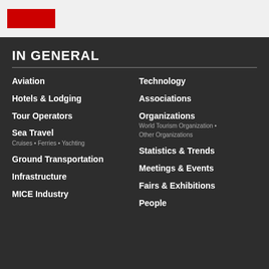[Figure (logo): Red logo block in top bar header]
IN GENERAL
Aviation
Hotels & Lodging
Tour Operators
Sea Travel
Ground Transportation
Infrastructure
MICE Industry
Technology
Associations
Organizations
Statistics & Trends
Meetings & Events
Fairs & Exhibitions
People